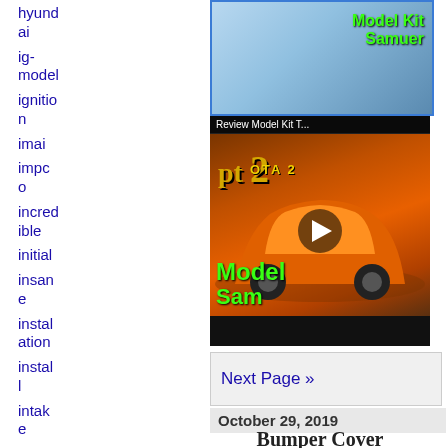hyundai
ig-model
ignition
imai
impco
incredible
initial
insane
installation
install
intake
interior
[Figure (screenshot): Partial top image of a Model Kit Samurai product box with green text overlay]
[Figure (screenshot): Video thumbnail: Review Model Kit T... showing an orange Toyota sports car (GT86) on model kit box, with yellow/green text overlay reading 'pt 2', 'Model', 'Sam', play button in center]
Next Page »
October 29, 2019
Bumper Cover Kit For 2009-2009